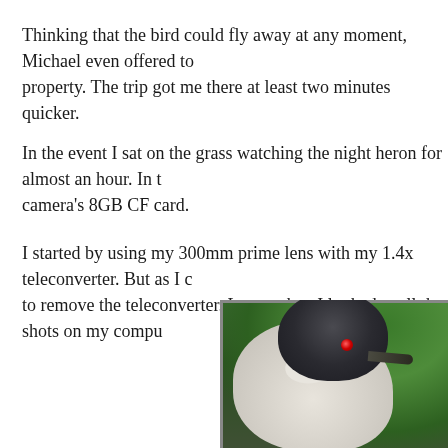Thinking that the bird could fly away at any moment, Michael even offered to property. The trip got me there at least two minutes quicker.
In the event I sat on the grass watching the night heron for almost an hour. In t camera's 8GB CF card.
I started by using my 300mm prime lens with my 1.4x teleconverter. But as I c to remove the teleconverter. Later, when I looked at all the shots on my compu
[Figure (photo): Close-up photograph of a night heron bird with a dark grey-black cap, white/cream body, red eye, and dark beak, set against a green leafy background.]